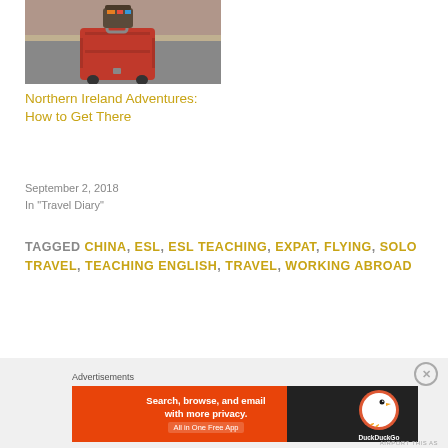[Figure (photo): Photo of luggage/suitcase at what appears to be a train station or transit area]
Northern Ireland Adventures: How to Get There
September 2, 2018
In "Travel Diary"
TAGGED CHINA, ESL, ESL TEACHING, EXPAT, FLYING, SOLO TRAVEL, TEACHING ENGLISH, TRAVEL, WORKING ABROAD
[Figure (screenshot): DuckDuckGo advertisement banner: 'Search, browse, and email with more privacy. All in One Free App' with DuckDuckGo logo on dark background]